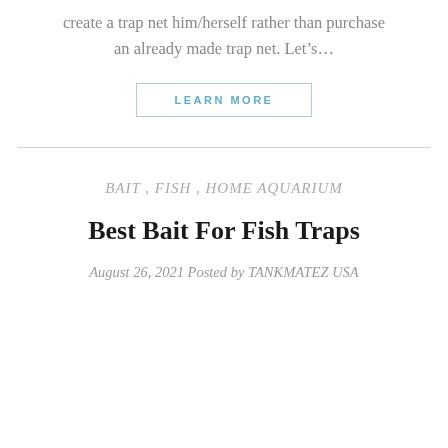create a trap net him/herself rather than purchase an already made trap net. Let’s…
LEARN MORE
BAIT , FISH , HOME AQUARIUM
Best Bait For Fish Traps
August 26, 2021 Posted by TANKMATEZ USA